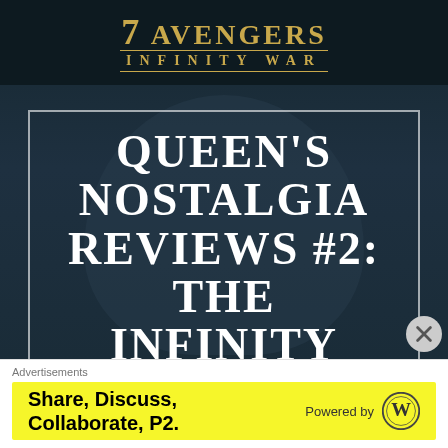[Figure (screenshot): Screenshot of a webpage showing Avengers Infinity War movie logo at top with dark background, and a large bordered text overlay reading 'QUEEN'S NOSTALGIA REVIEWS #2: THE INFINITY GAUNTLET' in white serif font on dark blue-grey cinematic background]
Advertisements
[Figure (infographic): Yellow advertisement banner: 'Share, Discuss, Collaborate, P2.' on the left in bold black text; 'Powered by' with WordPress logo on the right]